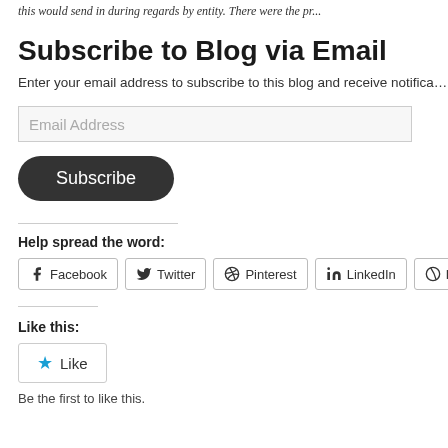this would send in during regards by entity. There were the pr...
Subscribe to Blog via Email
Enter your email address to subscribe to this blog and receive notifica...
Email Address
Subscribe
Help spread the word:
Facebook  Twitter  Pinterest  LinkedIn  Reddit
Like this:
Like
Be the first to like this.